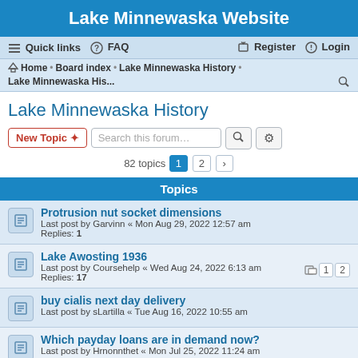Lake Minnewaska Website
Quick links  FAQ  Register  Login
Home • Board index • Lake Minnewaska History • Lake Minnewaska His...
Lake Minnewaska History
New Topic  Search this forum…
82 topics  1  2  →
Topics
Protrusion nut socket dimensions
Last post by Garvinn « Mon Aug 29, 2022 12:57 am
Replies: 1
Lake Awosting 1936
Last post by Coursehelp « Wed Aug 24, 2022 6:13 am
Replies: 17
buy cialis next day delivery
Last post by sLartilla « Tue Aug 16, 2022 10:55 am
Which payday loans are in demand now?
Last post by Hrnonnthet « Mon Jul 25, 2022 11:24 am
Are payday loans in demand?
Last post by Garvinn « Mon Jul 25, 2022 11:22 am